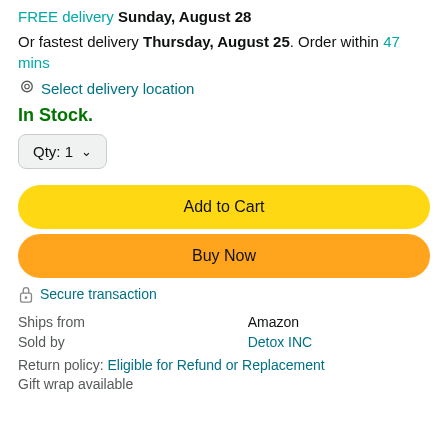FREE delivery Sunday, August 28
Or fastest delivery Thursday, August 25. Order within 47 mins
Select delivery location
In Stock.
Qty: 1
Add to Cart
Buy Now
Secure transaction
|  |  |
| --- | --- |
| Ships from | Amazon |
| Sold by | Detox INC |
Return policy: Eligible for Refund or Replacement
Gift wrap available